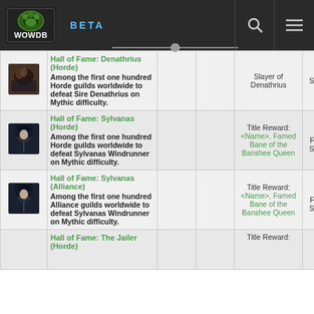WOWDB BETA
| Icon | Achievement |  |  | Reward | Category |
| --- | --- | --- | --- | --- | --- |
| [img] | Hall of Fame: Denathrius (Horde)
Among the first one hundred Horde guilds worldwide to defeat Sire Denathrius on Mythic difficulty. |  |  | Slayer of Denathrius | Strength |
| [img] | Hall of Fame: Sylvanas (Horde)
Among the first one hundred Horde guilds worldwide to defeat Sylvanas Windrunner on Mythic difficulty. |  |  | Title Reward: <Name>, Famed Bane of the Banshee Queen | Guild Feats of Strength |
| [img] | Hall of Fame: Sylvanas (Alliance)
Among the first one hundred Alliance guilds worldwide to defeat Sylvanas Windrunner on Mythic difficulty. |  |  | Title Reward: <Name>, Famed Bane of the Banshee Queen | Guild Feats of Strength |
| [img] | Hall of Fame: The Jailer (Horde) |  |  | Title Reward: |  |